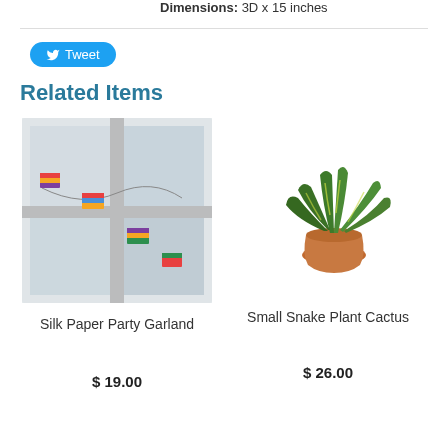Dimensions: 3D x 15 inches
Tweet
Related Items
[Figure (photo): Photo of silk paper party garland hanging in a window]
Silk Paper Party Garland
$ 19.00
[Figure (photo): Photo of small snake plant cactus in a terracotta pot]
Small Snake Plant Cactus
$ 26.00